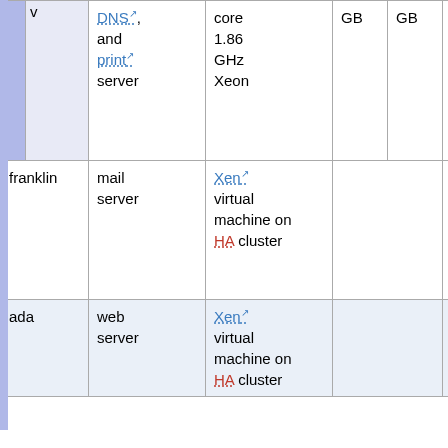| Name | Role | Specs | RAM | Disk | Notes |
| --- | --- | --- | --- | --- | --- |
| v… | DNS, and print server | core 1.86 GHz Xeon | GB | GB | messenger of gods; a god of intellect, inven travelers, communications, and many other attributes. |
| franklin | mail server | Xen virtual machine on HA cluster |  |  | Benjamin Franklin (1706-1790), who w (among many other things) the first Postmaster General the United Sates. |
| ada | web server | Xen virtual machine on HA cluster |  |  | Ada Byron, Count of Lovelace (1815-1 the founder of scien computing. |